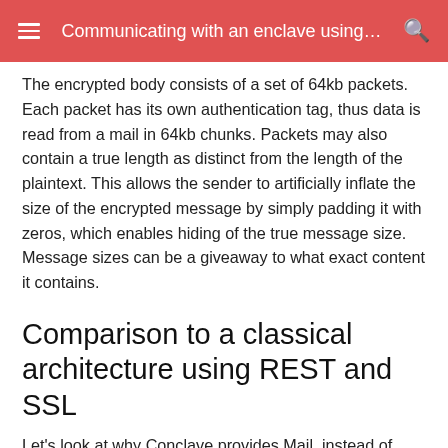Communicating with an enclave using…
The encrypted body consists of a set of 64kb packets. Each packet has its own authentication tag, thus data is read from a mail in 64kb chunks. Packets may also contain a true length as distinct from the length of the plaintext. This allows the sender to artificially inflate the size of the encrypted message by simply padding it with zeros, which enables hiding of the true message size. Message sizes can be a giveaway to what exact content it contains.
Comparison to a classical architecture using REST and SSL
Let's look at why Conclave provides Mail, instead of having clients connect into an enclave using HTTPS.